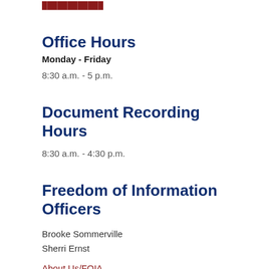Office Hours
Monday - Friday
8:30 a.m. - 5 p.m.
Document Recording Hours
8:30 a.m. - 4:30 p.m.
Freedom of Information Officers
Brooke Sommerville
Sherri Ernst
About Us/FOIA